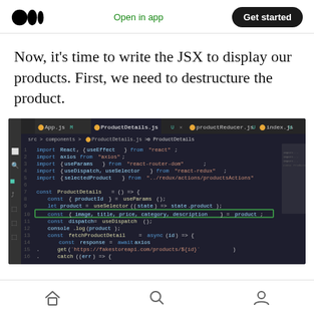Medium logo | Open in app | Get started
Now, it's time to write the JSX to display our products. First, we need to destructure the product.
[Figure (screenshot): VS Code editor screenshot showing ProductDetails.js with JavaScript/React code. Line 10 is highlighted with a green border: const { image, title, price, category, description } = product; The code includes imports for React, Axios, useParams, useDispatch, useSelector, and selectedProduct, followed by a ProductDetails component definition with useSelector, fetchProductDetail async function using axios to call fakestoreapi.com, and dispatch call.]
Home | Search | Profile